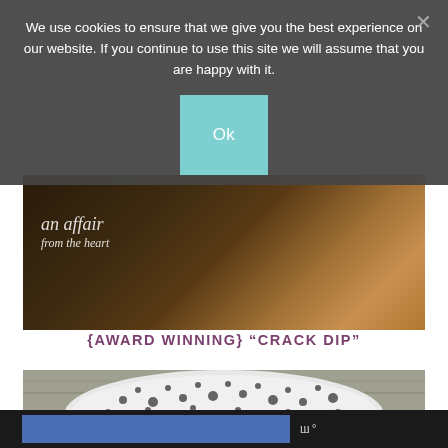[Figure (screenshot): Cookie consent overlay dialog on a food blog website. Dark semi-transparent overlay with text about cookies and an 'Ok' teal/mint button, and an X close button.]
We use cookies to ensure that we give you the best experience on our website. If you continue to use this site we will assume that you are happy with it.
[Figure (photo): Dark food image showing a rustic food setting with text reading 'an affair from the heart' in cursive script overlay, with a piece of bread/cracker visible.]
{AWARD WINNING} "CRACK DIP"
[Figure (photo): Photo of a dip dish with a black and white floral patterned cloth/napkin on a rustic wooden surface background.]